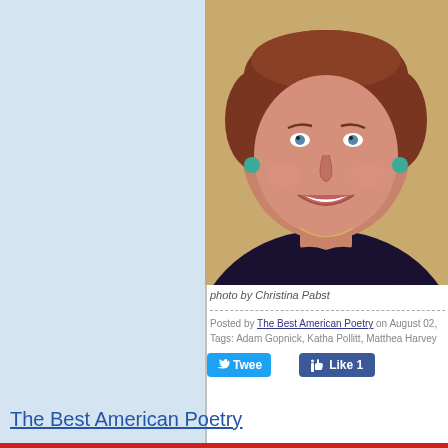[Figure (photo): Portrait photo of a smiling woman with short brown hair, wearing a dark navy polo shirt and a thin necklace, with teal drop earrings, against a warm beige background]
photo by Christina Pabst
Posted by The Best American Poetry on August 02,
Tags: Adam Gopnick, Katha Pollitt, Matthea Harvey
Tweet   Like 1
The Best American Poetry